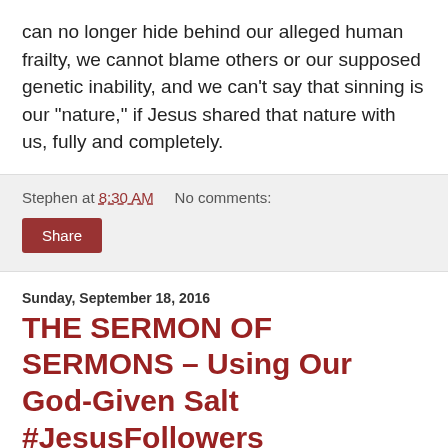can no longer hide behind our alleged human frailty, we cannot blame others or our supposed genetic inability, and we can't say that sinning is our "nature," if Jesus shared that nature with us, fully and completely.
Stephen at 8:30 AM    No comments:
Share
Sunday, September 18, 2016
THE SERMON OF SERMONS – Using Our God-Given Salt #JesusFollowers
Jesus said: "You are the salt of the earth, but if salt has lost its taste, how shall its saltiness be restored? It is no longer good for anything except to be thrown out and trampled under people's feet. You are the light of the world. A city set on a hill cannot be hidden. Nor do people light a lamp